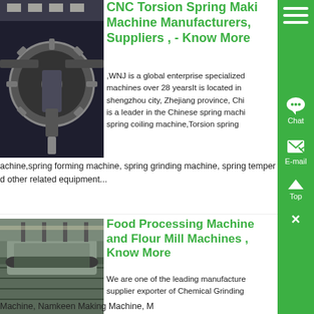[Figure (photo): CNC machine interior with gear/spindle, dark industrial setting]
CNC Torsion Spring Making Machine Manufacturers, Suppliers , - Know More
,WNJ is a global enterprise specialized machines over 28 yearsIt is located in shengzhou city, Zhejiang province, Chi is a leader in the Chinese spring machi spring coiling machine,Torsion spring achine,spring forming machine, spring grinding machine, spring temper d other related equipment...
[Figure (photo): Food processing or flour mill machine in industrial setting, aerial/side view]
Food Processing Machine and Flour Mill Machines , Know More
We are one of the leading manufacture supplier exporter of Chemical Grinding Machine, Namkeen Making Machine, M Making Machine, Packaging Machine, Puffedrice Making Machines, Sattu Ma achines, Spice Making Machine, Nail Making Machine, Paddy Cutter Ma